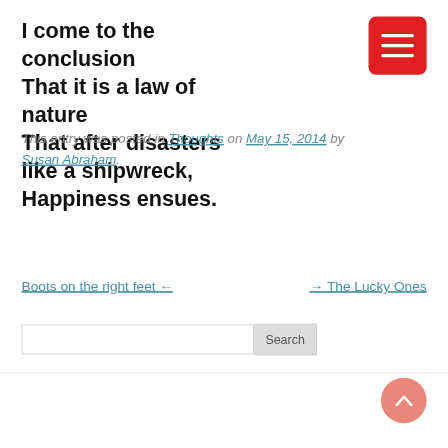I come to the conclusion
That it is a law of nature
That after disasters like a shipwreck,
Happiness ensues.
[Figure (other): Red hamburger menu button with three white horizontal lines]
This entry was posted in Thoughts on May 15, 2014 by Susan Abraham.
Boots on the right feet ←
→ The Lucky Ones
Search
[Figure (other): Scroll-to-top button: salmon/pink circle with white upward chevron]